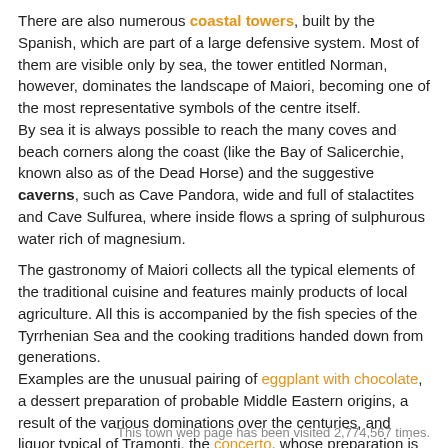There are also numerous coastal towers, built by the Spanish, which are part of a large defensive system. Most of them are visible only by sea, the tower entitled Norman, however, dominates the landscape of Maiori, becoming one of the most representative symbols of the centre itself.
By sea it is always possible to reach the many coves and beach corners along the coast (like the Bay of Salicerchie, known also as of the Dead Horse) and the suggestive caverns, such as Cave Pandora, wide and full of stalactites and Cave Sulfurea, where inside flows a spring of sulphurous water rich of magnesium.
The gastronomy of Maiori collects all the typical elements of the traditional cuisine and features mainly products of local agriculture. All this is accompanied by the fish species of the Tyrrhenian Sea and the cooking traditions handed down from generations.
Examples are the unusual pairing of eggplant with chocolate, a dessert preparation of probable Middle Eastern origins, a result of the various dominations over the centuries, and liquor typical of Tramonti, the concerto, whose preparation is the result of proceedings. that for years have been kept secret by the local inhabitants.
This town web page has been visited 2,774,567 times.